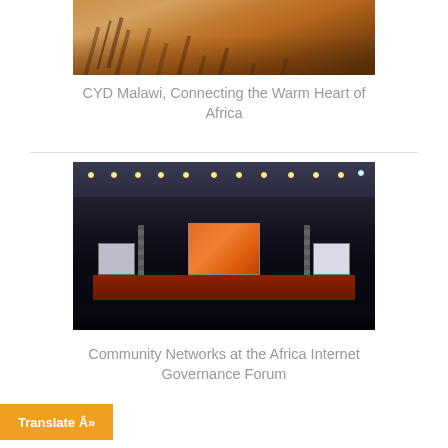[Figure (photo): Top portion of a photo showing a dry, sandy landscape with bare tree branches, warm orange-brown tones, likely in Africa]
CYD Malawi, Connecting the Warm Heart of Africa
[Figure (photo): Conference hall photo showing a dark auditorium with a large stage featuring a central screen displaying a map of Africa with 'AFRINIC' branding, flanked by smaller screens and truss structures, with audience silhouettes in the foreground]
Community Networks at the Africa Internet Governance Forum